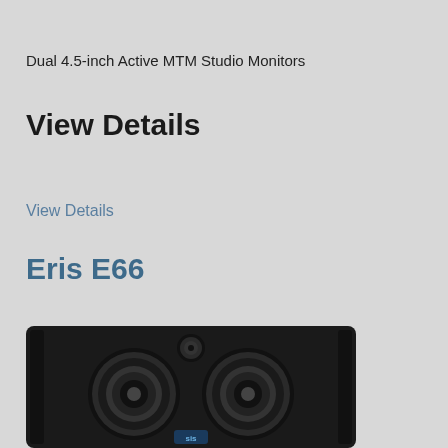Dual 4.5-inch Active MTM Studio Monitors
View Details
View Details
Eris E66
[Figure (photo): Front view of the PreSonus Eris E66 dual 4.5-inch active MTM studio monitor speaker, showing two large woofer cones and a small tweeter in the center on a dark cabinet with vertical porting on sides, with a small PreSonus logo at the bottom.]